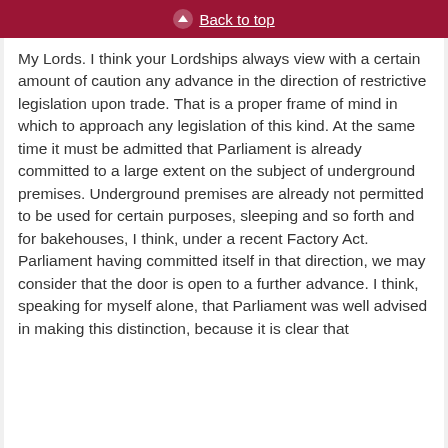Back to top
My Lords. I think your Lordships always view with a certain amount of caution any advance in the direction of restrictive legislation upon trade. That is a proper frame of mind in which to approach any legislation of this kind. At the same time it must be admitted that Parliament is already committed to a large extent on the subject of underground premises. Underground premises are already not permitted to be used for certain purposes, sleeping and so forth and for bakehouses, I think, under a recent Factory Act. Parliament having committed itself in that direction, we may consider that the door is open to a further advance. I think, speaking for myself alone, that Parliament was well advised in making this distinction, because it is clear that